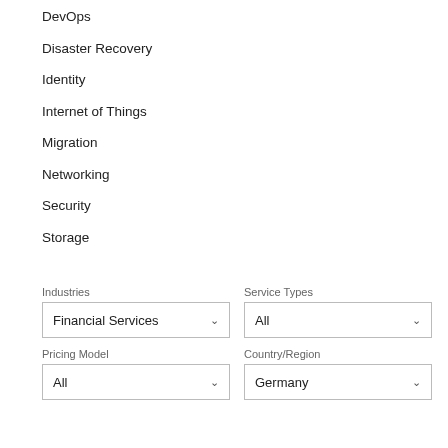DevOps
Disaster Recovery
Identity
Internet of Things
Migration
Networking
Security
Storage
Industries
Financial Services
Service Types
All
Pricing Model
All
Country/Region
Germany
Reset filters